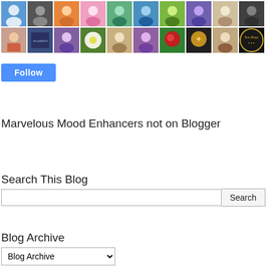[Figure (photo): Two rows of user avatar thumbnails from a blog follower widget]
Follow
Marvelous Mood Enhancers not on Blogger
Search This Blog
Search
Blog Archive
Blog Archive